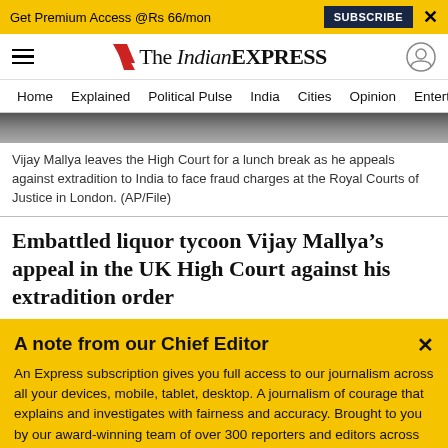Get Premium Access @Rs 66/mon  SUBSCRIBE  ×
The Indian EXPRESS — Home | Explained | Political Pulse | India | Cities | Opinion | Entertainment
[Figure (photo): Partial photo of Vijay Mallya leaving the High Court]
Vijay Mallya leaves the High Court for a lunch break as he appeals against extradition to India to face fraud charges at the Royal Courts of Justice in London. (AP/File)
Embattled liquor tycoon Vijay Mallya's appeal in the UK High Court against his extradition order
A note from our Chief Editor

An Express subscription gives you full access to our journalism across all your devices, mobile, tablet, desktop. A journalism of courage that explains and investigates with fairness and accuracy. Brought to you by our award-winning team of over 300 reporters and editors across the country. Including a team of top domain experts who explain news as it breaks, columnists who